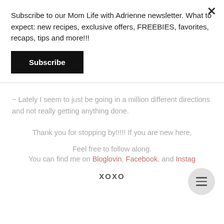Subscribe to our Mom Life with Adrienne newsletter. What to expect: new recipes, exclusive offers, FREEBIES, favorites, recaps, tips and more!!!
Subscribe
~ Lately I seem to just be going in a million different directions and not really getting anything done.
Thank you for stopping by!!!!! If you are new here,
Feel free to follow along.
You can find me on Bloglovin, Facebook, and Instagram.
XOXO